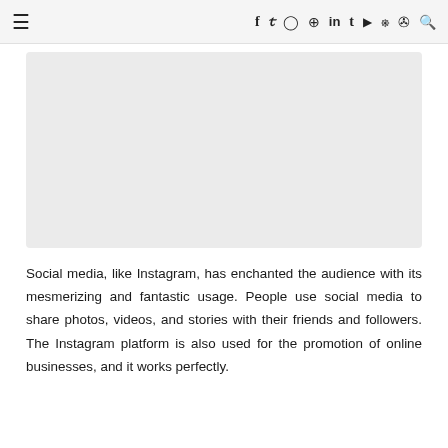☰  f  𝕪  ⊙  ⊕  in  t  ▶  ⌥  ↯  🔍
[Figure (other): Large light gray rectangular image placeholder area]
Social media, like Instagram, has enchanted the audience with its mesmerizing and fantastic usage. People use social media to share photos, videos, and stories with their friends and followers. The Instagram platform is also used for the promotion of online businesses, and it works perfectly.